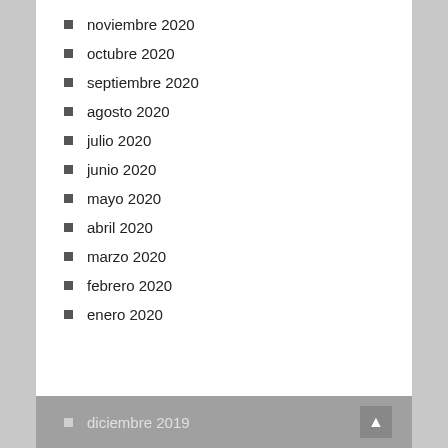noviembre 2020
octubre 2020
septiembre 2020
agosto 2020
julio 2020
junio 2020
mayo 2020
abril 2020
marzo 2020
febrero 2020
enero 2020
diciembre 2019